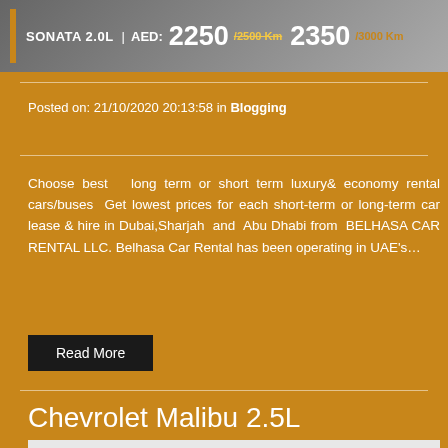[Figure (photo): Car rental banner showing Sonata 2.0L with pricing: AED 2250 /2500 Km and 2350 /3000 Km]
Posted on: 21/10/2020 20:13:58 in Blogging
Choose best  long term or short term luxury& economy rental cars/buses  Get lowest prices for each short-term or long-term car lease & hire in Dubai,Sharjah  and  Abu Dhabi from  BELHASA CAR RENTAL LLC. Belhasa Car Rental has been operating in UAE's…
Read More
Chevrolet Malibu 2.5L
[Figure (photo): Belhasa/SB car rental logo with Arabic text and golden banner text at bottom]